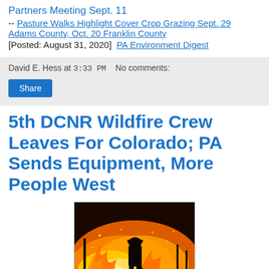Partners Meeting Sept. 11
-- Pasture Walks Highlight Cover Crop Grazing Sept. 29 Adams County, Oct. 20 Franklin County
[Posted: August 31, 2020]  PA Environment Digest
David E. Hess at 3:33 PM   No comments:
Share
5th DCNR Wildfire Crew Leaves For Colorado; PA Sends Equipment, More People West
[Figure (photo): Silhouette of a firefighter against a backdrop of bright orange wildfire flames in a forested area]
On September 1, the fifth 20-person wildfire crew DCNR